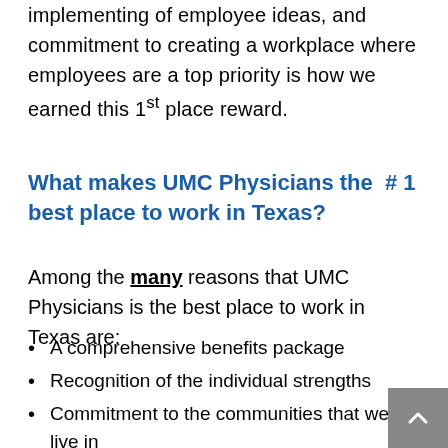implementing of employee ideas, and commitment to creating a workplace where employees are a top priority is how we earned this 1st place reward.
What makes UMC Physicians the #1 best place to work in Texas?
Among the many reasons that UMC Physicians is the best place to work in Texas are:
A comprehensive benefits package
Recognition of the individual strengths
Commitment to the communities that we live in
Investment in professional development opportunities
Peer and patient nominated program to